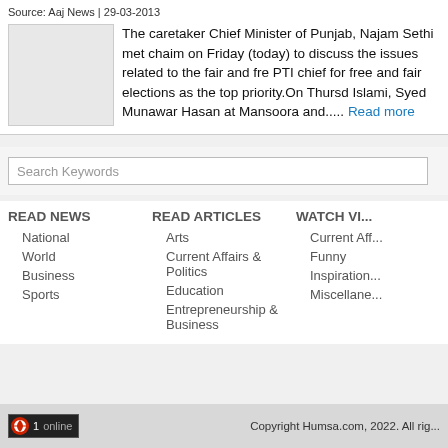Source: Aaj News | 29-03-2013
The caretaker Chief Minister of Punjab, Najam Sethi met chaim on Friday (today) to discuss the issues related to the fair and fre PTI chief for free and fair elections as the top priority.On Thursd Islami, Syed Munawar Hasan at Mansoora and..... Read more
Search Keywords
READ NEWS
National
World
Business
Sports
READ ARTICLES
Arts
Current Affairs & Politics
Education
Entrepreneurship & Business
WATCH VI...
Current Aff...
Funny
Inspiration...
Miscellane...
1 online | Copyright Humsa.com, 2022. All rig...